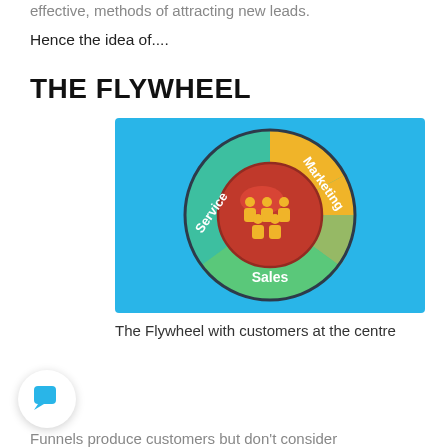effective, methods of attracting new leads.
Hence the idea of....
THE FLYWHEEL
[Figure (infographic): The Flywheel diagram on a blue background showing three segments: Marketing (yellow/gold, top right), Sales (green, bottom), and Service (teal, left), forming a ring around a central red circle with people/customer icons. Labels 'Marketing', 'Sales', and 'Service' are written on their respective segments.]
The Flywheel with customers at the centre
Funnels produce customers but don't consider